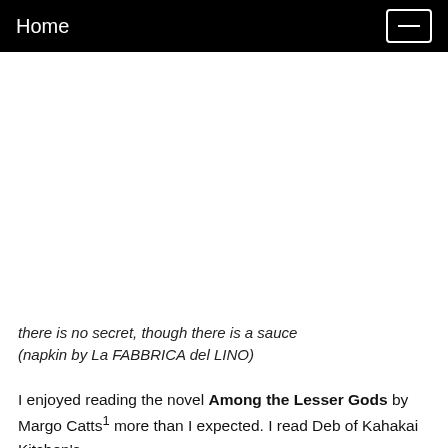Home
there is no secret, though there is a sauce (napkin by La FABBRICA del LINO)
I enjoyed reading the novel Among the Lesser Gods by Margo Catts¹ more than I expected. I read Deb of Kahakai Kitchen's